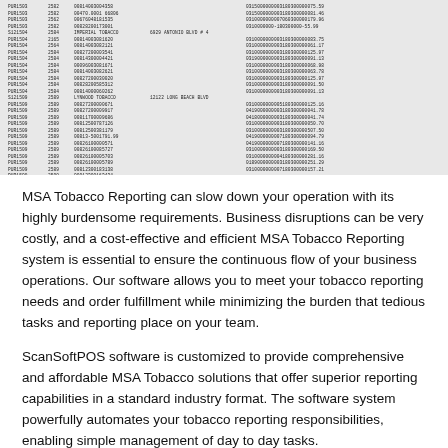[Figure (screenshot): Screenshot of a data table showing tobacco retailer records with columns for retailer ID, code, account numbers, business names, addresses, and numeric values. Rows include entries for PUR1503, PUR1504, PUR1505, S121504, S121509 and others with associated data fields.]
MSA Tobacco Reporting can slow down your operation with its highly burdensome requirements. Business disruptions can be very costly, and a cost-effective and efficient MSA Tobacco Reporting system is essential to ensure the continuous flow of your business operations. Our software allows you to meet your tobacco reporting needs and order fulfillment while minimizing the burden that tedious tasks and reporting place on your team.
ScanSoftPOS software is customized to provide comprehensive and affordable MSA Tobacco solutions that offer superior reporting capabilities in a standard industry format. The software system powerfully automates your tobacco reporting responsibilities, enabling simple management of day to day tasks.